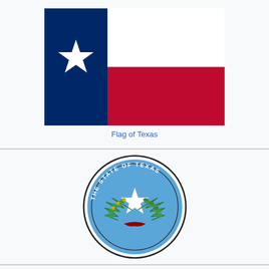[Figure (illustration): Flag of Texas: vertical blue stripe on left with white star, white stripe on upper right, red stripe on lower right]
Flag of Texas
[Figure (illustration): Seal of the State of Texas: circular seal with light blue background, white star in center surrounded by olive and live oak branches, text 'THE STATE OF TEXAS' around border]
Living insignia
| Bird | Northern mockingbird |
| --- | --- |